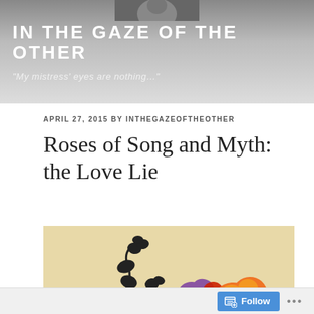IN THE GAZE OF THE OTHER
"My mistress' eyes are nothing..."
APRIL 27, 2015 BY INTHEGAZEOFTHEOTHER
Roses of Song and Myth: the Love Lie
[Figure (photo): Photo of colorful flowers — orange, red, and purple blooms with black decorative floral silhouette elements against a beige background. A hand is partially visible at the right edge.]
Follow